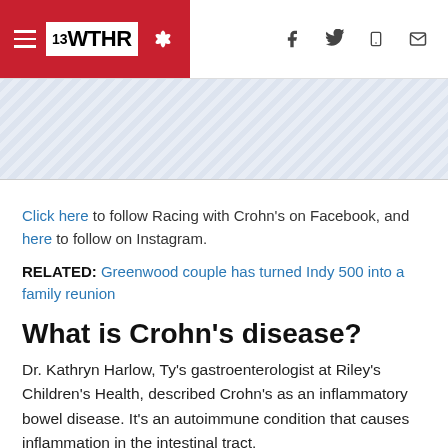13 WTHR
[Figure (other): Ad banner with diagonal stripe pattern]
Click here to follow Racing with Crohn's on Facebook, and here to follow on Instagram.
RELATED: Greenwood couple has turned Indy 500 into a family reunion
What is Crohn's disease?
Dr. Kathryn Harlow, Ty's gastroenterologist at Riley's Children's Health, described Crohn's as an inflammatory bowel disease. It's an autoimmune condition that causes inflammation in the intestinal tract.